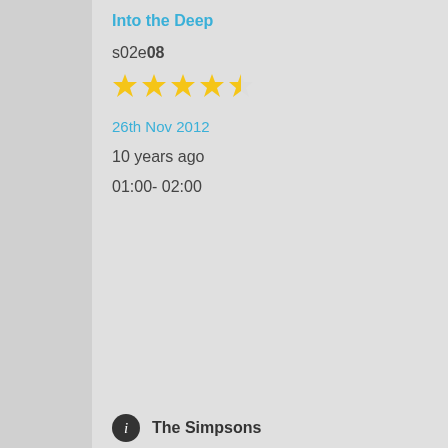Into the Deep
s02e08
★★★★½ (4.5 stars)
26th Nov 2012
10 years ago
01:00- 02:00
See Dad Run
See Dad Catch a Rat
s01e08
☆☆☆☆☆ (0 stars)
26th Nov 2012
10 years ago
01:00- 01:30
The Simpsons